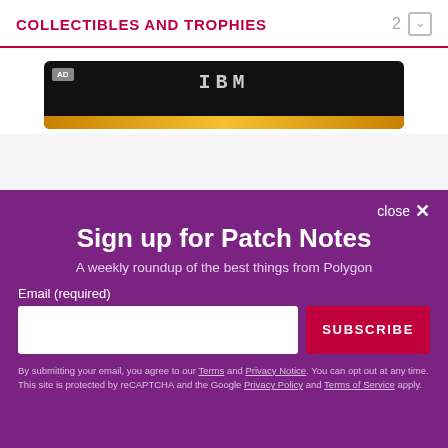COLLECTIBLES AND TROPHIES
[Figure (screenshot): IBM advertisement banner with black background, IBM logo in white, and golden text partially visible at bottom]
close X
Sign up for Patch Notes
A weekly roundup of the best things from Polygon
Email (required)
SUBSCRIBE
By submitting your email, you agree to our Terms and Privacy Notice. You can opt out at any time. This site is protected by reCAPTCHA and the Google Privacy Policy and Terms of Service apply.